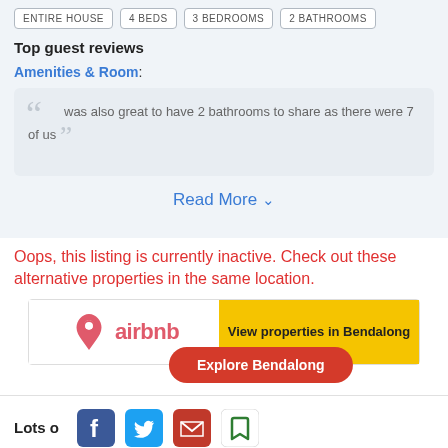ENTIRE HOUSE | 4 BEDS | 3 BEDROOMS | 2 BATHROOMS
Top guest reviews
Amenities & Room:
was also great to have 2 bathrooms to share as there were 7 of us
Read More ∨
Oops, this listing is currently inactive. Check out these alternative properties in the same location.
[Figure (logo): Airbnb logo with pink triangle/loop icon and 'airbnb' text in pink, next to a yellow banner with text 'View properties in Bendalong' and a red rounded button 'Explore Bendalong']
Lots of ...
[Figure (infographic): Social share icons: Facebook (blue), Twitter (blue bird), Email (red envelope), Bookmark (green bookmark)]